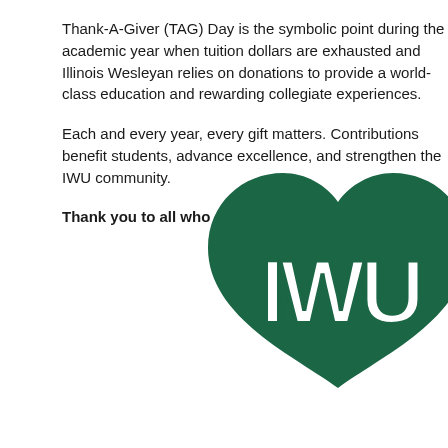Thank-A-Giver (TAG) Day is the symbolic point during the academic year when tuition dollars are exhausted and Illinois Wesleyan relies on donations to provide a world-class education and rewarding collegiate experiences.

Each and every year, every gift matters. Contributions benefit students, advance excellence, and strengthen the IWU community.

Thank you to all who give back to move IWU forward.
[Figure (logo): Illinois Wesleyan University (IWU) logo — a large dark green heart shape with the letters IWU in bold white outlined text across the center.]